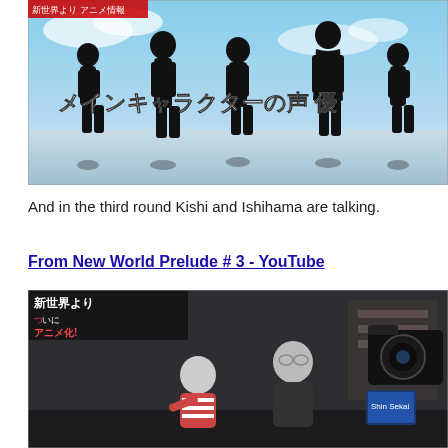[Figure (screenshot): Anime screenshot showing five character silhouettes against a sky background with Japanese text reading メインキャラクターの声優 (Main character voice actors)]
And in the third round Kishi and Ishihama are talking.
From New World Prelude # 3 - YouTube
[Figure (screenshot): Video screenshot showing two men in conversation in a studio setting. Text overlay reads 新世界より (From the New World) アニメ化. A camera is visible on the right side.]